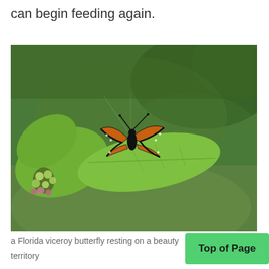can begin feeding again.
[Figure (photo): A Florida viceroy butterfly resting on a green leaf of a beautyberry shrub, with a blurred green background. The butterfly has orange wings with black borders and white spots.]
a Florida viceroy butterfly resting on a beauty territory